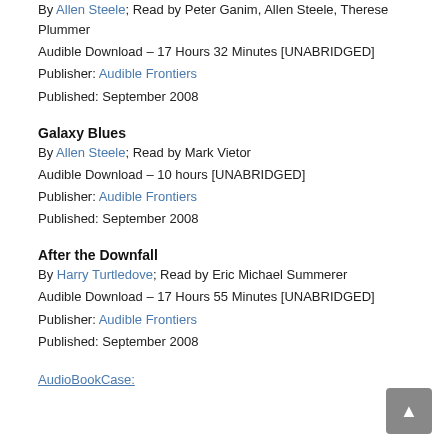By Allen Steele; Read by Peter Ganim, Allen Steele, Therese Plummer
Audible Download – 17 Hours 32 Minutes [UNABRIDGED]
Publisher: Audible Frontiers
Published: September 2008
Galaxy Blues
By Allen Steele; Read by Mark Vietor
Audible Download – 10 hours [UNABRIDGED]
Publisher: Audible Frontiers
Published: September 2008
After the Downfall
By Harry Turtledove; Read by Eric Michael Summerer
Audible Download – 17 Hours 55 Minutes [UNABRIDGED]
Publisher: Audible Frontiers
Published: September 2008
AudioBookCase: